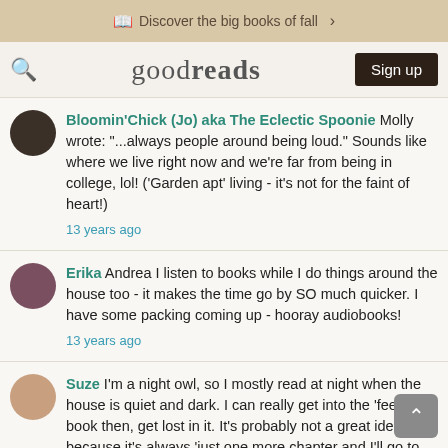Discover the big books of fall >
goodreads  Sign up
Bloomin'Chick (Jo) aka The Eclectic Spoonie Molly wrote: "...always people around being loud." Sounds like where we live right now and we're far from being in college, lol! ('Garden apt' living - it's not for the faint of heart!) 13 years ago
Erika Andrea I listen to books while I do things around the house too - it makes the time go by SO much quicker. I have some packing coming up - hooray audiobooks! 13 years ago
Suze I'm a night owl, so I mostly read at night when the house is quiet and dark. I can really get into the 'feel' of a book then, get lost in it. It's probably not a great idea, because it's always 'just one more chapter and I'll go to bed'....and it never quite works out that way.